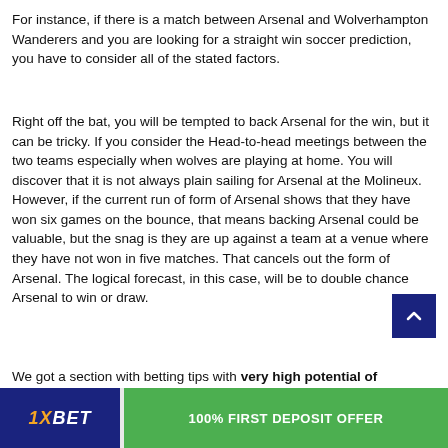For instance, if there is a match between Arsenal and Wolverhampton Wanderers and you are looking for a straight win soccer prediction, you have to consider all of the stated factors.
Right off the bat, you will be tempted to back Arsenal for the win, but it can be tricky. If you consider the Head-to-head meetings between the two teams especially when wolves are playing at home. You will discover that it is not always plain sailing for Arsenal at the Molineux. However, if the current run of form of Arsenal shows that they have won six games on the bounce, that means backing Arsenal could be valuable, but the snag is they are up against a team at a venue where they have not won in five matches. That cancels out the form of Arsenal. The logical forecast, in this case, will be to double chance Arsenal to win or draw.
We got a section with betting tips with very high potential of winning ... casts for Sure...
[Figure (other): Advertisement banner: 1XBET logo on dark blue background, green button with text '100% FIRST DEPOSIT OFFER']